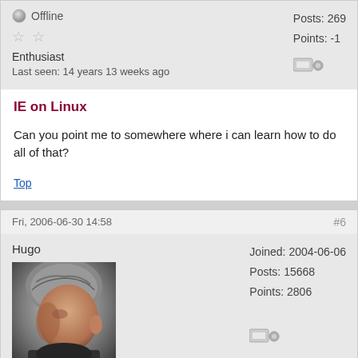Offline
Posts: 269
Points: -1
Enthusiast
Last seen: 14 years 13 weeks ago
IE on Linux
Can you point me to somewhere where i can learn how to do all of that?
Top
Fri, 2006-06-30 14:58
#6
Hugo
Joined: 2004-06-06
Posts: 15668
Points: 2806
[Figure (photo): Profile photo of user Hugo, showing a man with short gray hair in side profile]
Offi...